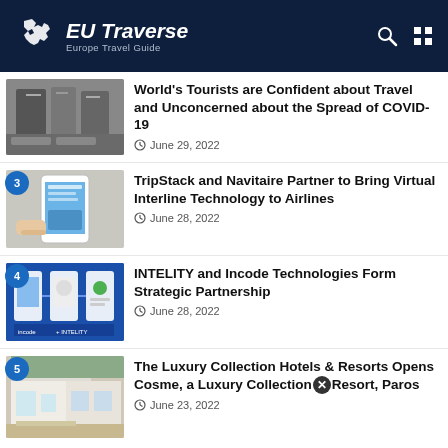EU Traverse — Europe Travel Guide
World's Tourists are Confident about Travel and Unconcerned about the Spread of COVID-19 — June 29, 2022
3 — TripStack and Navitaire Partner to Bring Virtual Interline Technology to Airlines — June 28, 2022
4 — INTELITY and Incode Technologies Form Strategic Partnership — June 28, 2022
5 — The Luxury Collection Hotels & Resorts Opens Cosme, a Luxury Collection Resort, Paros — June 23, 2022